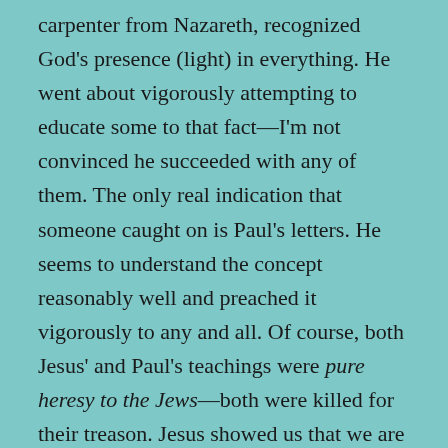carpenter from Nazareth, recognized God's presence (light) in everything. He went about vigorously attempting to educate some to that fact—I'm not convinced he succeeded with any of them. The only real indication that someone caught on is Paul's letters. He seems to understand the concept reasonably well and preached it vigorously to any and all. Of course, both Jesus' and Paul's teachings were pure heresy to the Jews—both were killed for their treason. Jesus showed us that we are intricately connected to everything through the Spirit Of God—that was his gospel (good news) that he wanted preached to the entire world. God cannot possibly be separated from himself. However in the post-Nicaean era, religion took the stance that it was in control of God's location, thoughts, and actions. Religion, as the of the Spirit of God, God's Will, and